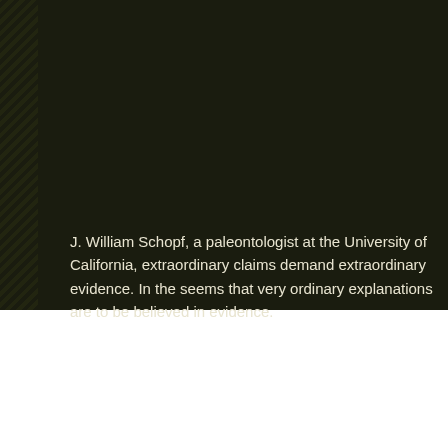J. William Schopf, a paleontologist at the University of California, extraordinary claims demand extraordinary evidence. In the seems that very ordinary explanations are to be believed in evidence.